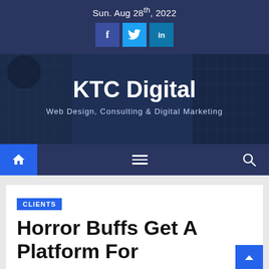Sun. Aug 28th, 2022
[Figure (logo): KTC Digital website logo with building background. Text: KTC Digital, Web Design, Consulting & Digital Marketing]
[Figure (infographic): Navigation bar with home icon, hamburger menu, and search icon on dark blue background]
CLIENTS
Horror Buffs Get A Platform For